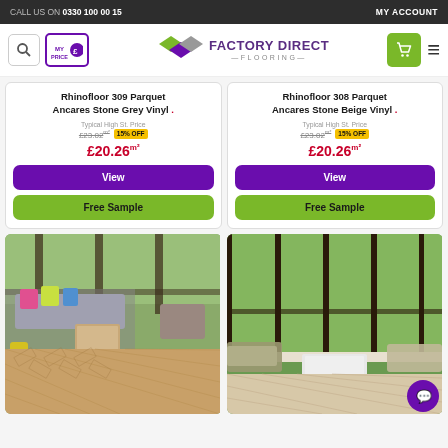CALL US ON 0330 100 00 15 | MY ACCOUNT
[Figure (logo): Factory Direct Flooring logo with diamond shapes in green, purple, and grey, with navigation icons]
Rhinofloor 309 Parquet Ancares Stone Grey Vinyl . Typical High St. Price £23.02/m² 15% OFF £20.26m²
Rhinofloor 308 Parquet Ancares Stone Beige Vinyl . Typical High St. Price £23.02/m² 15% OFF £20.26m²
[Figure (photo): Room with herringbone warm brown vinyl flooring, sofa, colorful cushions, large windows with greenery]
[Figure (photo): Bright modern room with light herringbone vinyl flooring, large floor-to-ceiling windows with garden view, sofa]